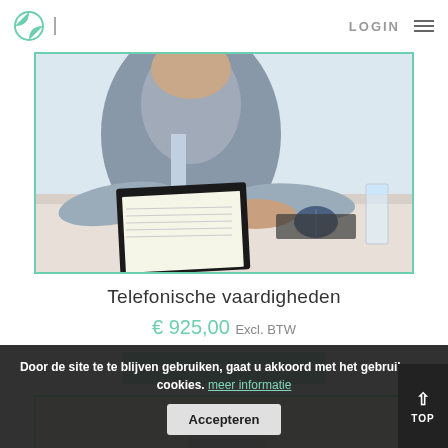LOGIN
[Figure (photo): Person at a desk with clipboard, computer mouse, glass of water, reviewing documents]
Telefonische vaardigheden
€ 925,00 Excl. BTW
OPTIES SELECTEREN
Door de site te te blijven gebruiken, gaat u akkoord met het gebruik van cookies. meer informatie
Accepteren